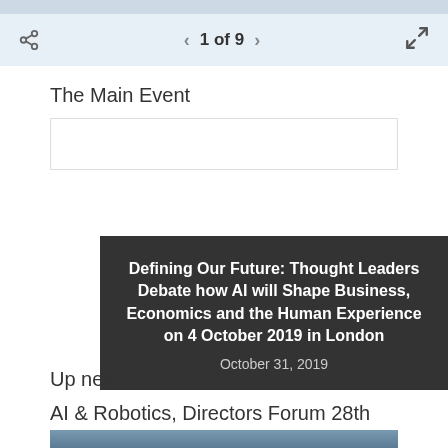1 of 9
The Main Event
Defining Our Future: Thought Leaders Debate how AI will Shape Business, Economics and the Human Experience on 4 October 2019 in London
October 31, 2019
Up next:
AI & Robotics, Directors Forum 28th November
[Figure (photo): Partial view of a robot image at the bottom of the page]